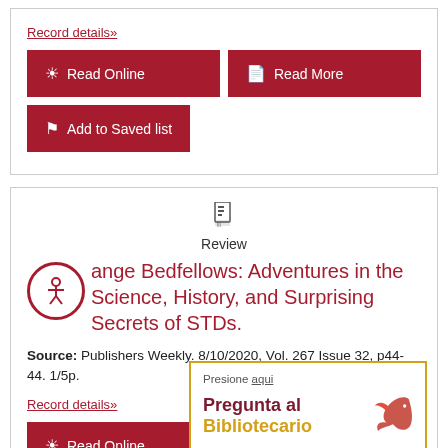Record details»
Read Online
Read More
Add to Saved list
Review
Strange Bedfellows: Adventures in the Science, History, and Surprising Secrets of STDs.
Source: Publishers Weekly. 8/10/2020, Vol. 267 Issue 32, p44-44. 1/5p.
Record details»
Read Online
Read More
Presione aqui
Pregunta al Bibliotecario